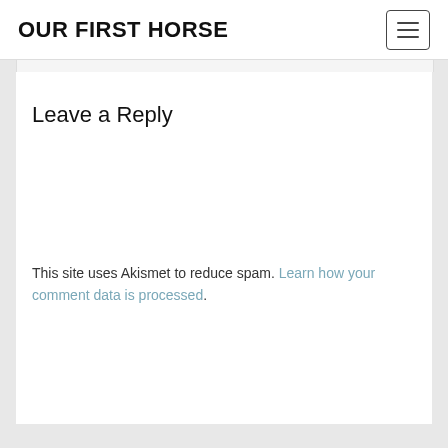OUR FIRST HORSE
Leave a Reply
This site uses Akismet to reduce spam. Learn how your comment data is processed.